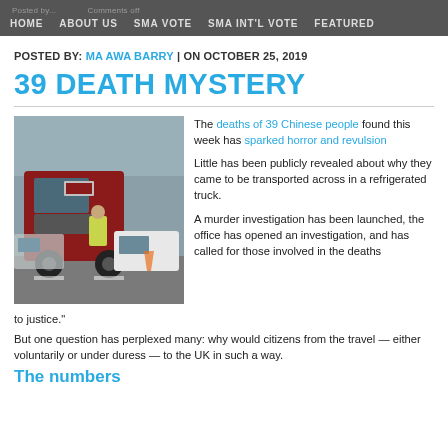HOME | ABOUT US | SMA VOTE | SMA INT'L VOTE | FEATURED
POSTED BY: MA AWA BARRY | ON OCTOBER 25, 2019
39 DEATH MYSTERY
[Figure (photo): Photo of a red refrigerated truck (lorry) on a road with police vehicles nearby, related to the 39 deaths story]
The deaths of 39 Chinese people found this week has sparked horror and revulsion

Little has been publicly revealed about why they came to be transported across in a refrigerated truck.
A murder investigation has been launched, the office has opened an investigation, and has called for those involved in the deaths to justice."

But one question has perplexed many: why would citizens from the travel — either voluntarily or under duress — to the UK in such a way.

The numbers